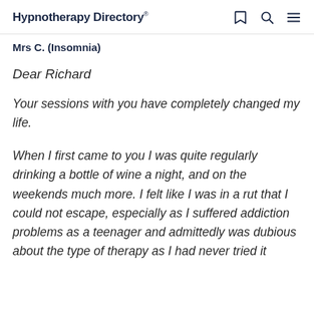Hypnotherapy Directory
Mrs C. (Insomnia)
Dear Richard
Your sessions with you have completely changed my life.
When I first came to you I was quite regularly drinking a bottle of wine a night, and on the weekends much more. I felt like I was in a rut that I could not escape, especially as I suffered addiction problems as a teenager and admittedly was dubious about the type of therapy as I had never tried it